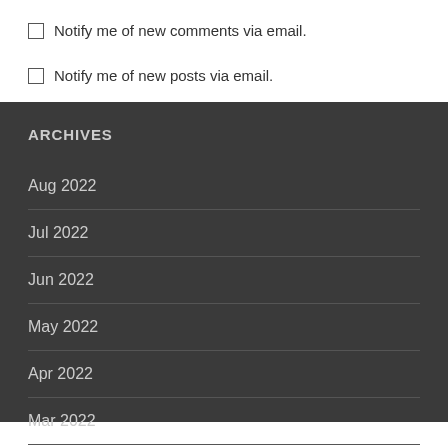Notify me of new comments via email.
Notify me of new posts via email.
ARCHIVES
Aug 2022
Jul 2022
Jun 2022
May 2022
Apr 2022
Mar 2022